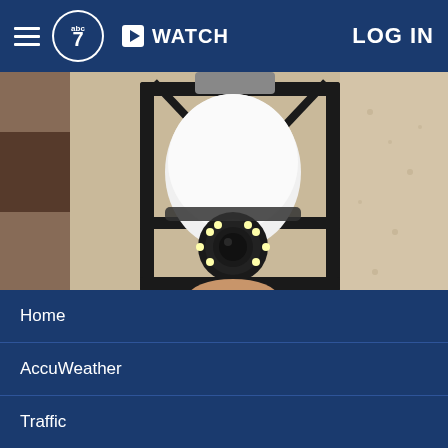abc7 | WATCH | LOG IN
[Figure (photo): A security camera shaped like a light bulb installed in an outdoor wall lantern fixture mounted on a textured stucco wall]
Homeowners Are Trading In Their Doorbell Cams For This
Camerca   Learn More
Home
AccuWeather
Traffic